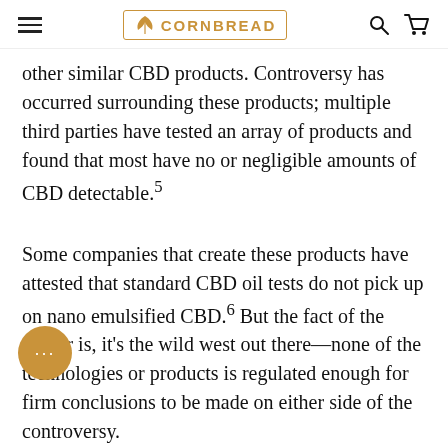CORNBREAD (logo with hamburger menu, search, and cart icons)
other similar CBD products. Controversy has occurred surrounding these products; multiple third parties have tested an array of products and found that most have no or negligible amounts of CBD detectable.5
Some companies that create these products have attested that standard CBD oil tests do not pick up on nano emulsified CBD.6 But the fact of the matter is, it’s the wild west out there—none of the technologies or products is regulated enough for firm conclusions to be made on either side of the controversy.